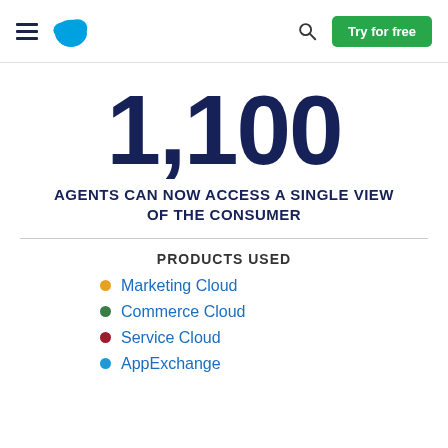Salesforce navigation header with hamburger menu, Salesforce logo, search icon, and Try for free button
1,100
AGENTS CAN NOW ACCESS A SINGLE VIEW OF THE CONSUMER
PRODUCTS USED
Marketing Cloud
Commerce Cloud
Service Cloud
AppExchange